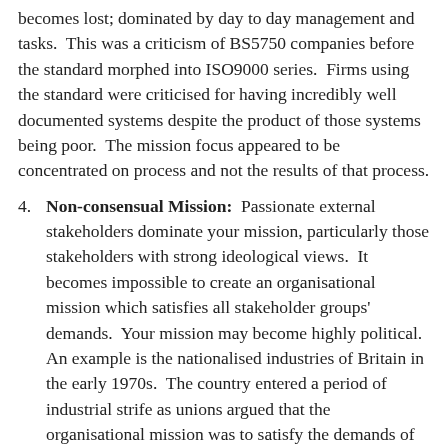becomes lost; dominated by day to day management and tasks.  This was a criticism of BS5750 companies before the standard morphed into ISO9000 series.  Firms using the standard were criticised for having incredibly well documented systems despite the product of those systems being poor.  The mission focus appeared to be concentrated on process and not the results of that process.
4.  Non-consensual Mission:  Passionate external stakeholders dominate your mission, particularly those stakeholders with strong ideological views.  It becomes impossible to create an organisational mission which satisfies all stakeholder groups' demands.  Your mission may become highly political.  An example is the nationalised industries of Britain in the early 1970s.  The country entered a period of industrial strife as unions argued that the organisational mission was to satisfy the demands of their members, not the customer, not management and certainly not the demands of